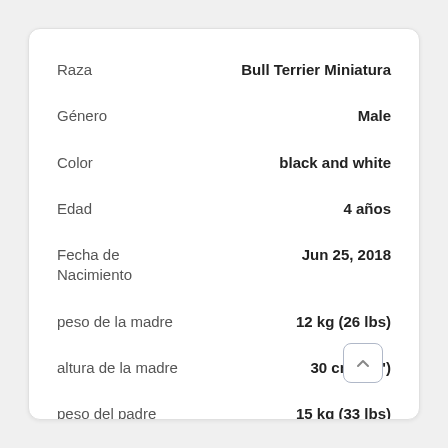| Field | Value |
| --- | --- |
| Raza | Bull Terrier Miniatura |
| Género | Male |
| Color | black and white |
| Edad | 4 años |
| Fecha de
Nacimiento | Jun 25, 2018 |
| peso de la madre | 12 kg (26 lbs) |
| altura de la madre | 30 cm (12") |
| peso del padre | 15 kg (33 lbs) |